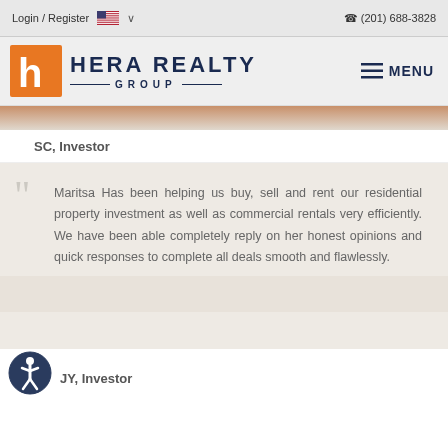Login / Register  (201) 688-3828
[Figure (logo): Hera Realty Group logo with orange H icon and navy blue text, MENU button]
SC, Investor
Maritsa Has been helping us buy, sell and rent our residential property investment as well as commercial rentals very efficiently. We have been able completely reply on her honest opinions and quick responses to complete all deals smooth and flawlessly.
JY, Investor